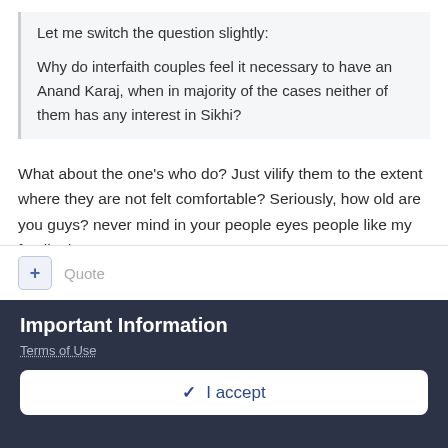Let me switch the question slightly:
Why do interfaith couples feel it necessary to have an Anand Karaj, when in majority of the cases neither of them has any interest in Sikhi?
What about the one's who do? Just vilify them to the extent where they are not felt comfortable? Seriously, how old are you guys? never mind in your people eyes people like my family don't count.
Quote
Important Information
Terms of Use
✓ I accept